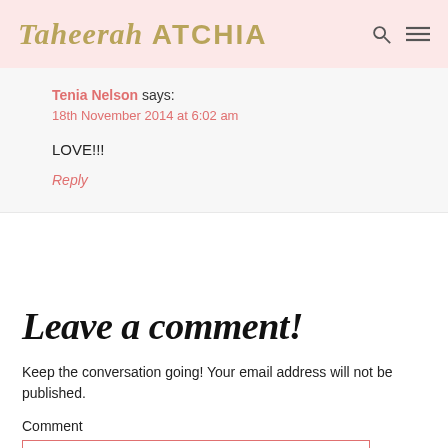Taheerah ATCHIA
Tenia Nelson says:
18th November 2014 at 6:02 am
LOVE!!!
Reply
Leave a comment!
Keep the conversation going! Your email address will not be published.
Comment